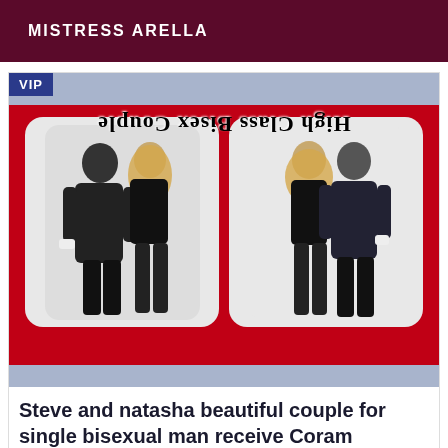MISTRESS ARELLA
[Figure (photo): VIP badge over a red background image showing two couples posing, with mirrored/flipped text reading 'High Class Bisex Couple' at top, light blue bars at top and bottom of image section]
Steve and natasha beautiful couple for single bisexual man receive Coram
Prostitutas Coram